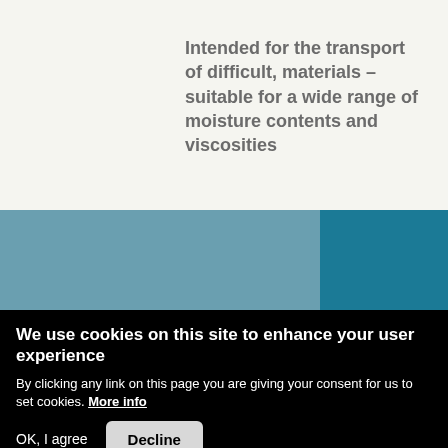Intended for the transport of difficult, materials – suitable for a wide range of moisture contents and viscosities
[Figure (photo): Two-tone teal/blue photograph panel, lighter blue-grey on the left approximately 70% width, darker teal on the right approximately 30% width, likely showing industrial conveyor or transport equipment.]
We use cookies on this site to enhance your user experience
By clicking any link on this page you are giving your consent for us to set cookies. More info
OK, I agree   Decline